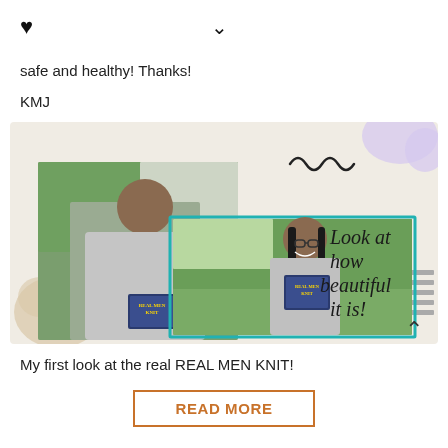safe and healthy! Thanks!
KMJ
[Figure (photo): Composite promotional image with beige background showing two overlapping photos of a woman holding a book titled 'Real Men Knit', along with decorative elements (purple blob, squiggle lines, golden swirl, gray lines) and bold text reading 'Look at how beautiful it is!']
My first look at the real REAL MEN KNIT!